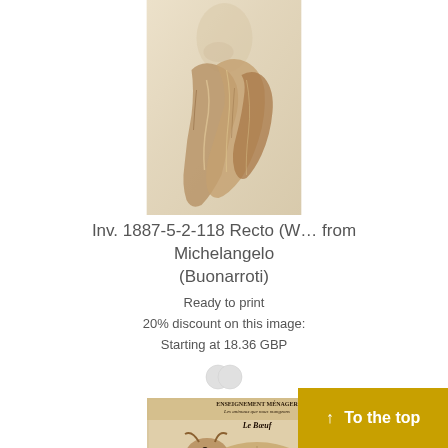[Figure (illustration): Sepia/brown sketch drawing on aged paper showing draped fabric/cloth with a faint figure in the background — attributed to Michelangelo Buonarroti]
Inv. 1887-5-2-118 Recto (W… from Michelangelo (Buonarroti)
Ready to print
20% discount on this image:
Starting at 18.36 GBP
[Figure (illustration): Vintage educational chart showing a bull/cow diagram labeled 'Le Boeuf' with French text 'Enseignement Ménager' and 'Les animaux que nous mangeons']
↑ To the top